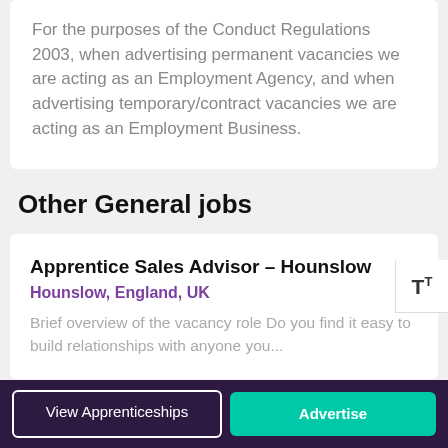For the purposes of the Conduct Regulations 2003, when advertising permanent vacancies we are acting as an Employment Agency, and when advertising temporary/contract vacancies we are acting as an Employment Business.
Other General jobs
Apprentice Sales Advisor – Hounslow
Hounslow, England, UK
Brief overview of the vacancy role Do you find it easy to build relationships with anyone you...
View Apprenticeships | Advertise